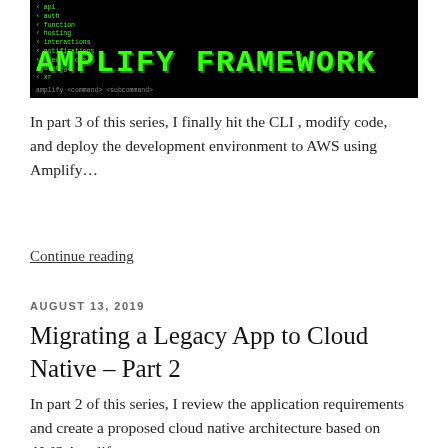[Figure (screenshot): Amplify Framework CLI screenshot with green text on black terminal background showing menu items and large green 'AMPLIFY FRAMEWORK' title text]
In part 3 of this series, I finally hit the CLI , modify code, and deploy the development environment to AWS using Amplify…
Continue reading
AUGUST 13, 2019
Migrating a Legacy App to Cloud Native – Part 2
In part 2 of this series, I review the application requirements and create a proposed cloud native architecture based on AWS Amplify.